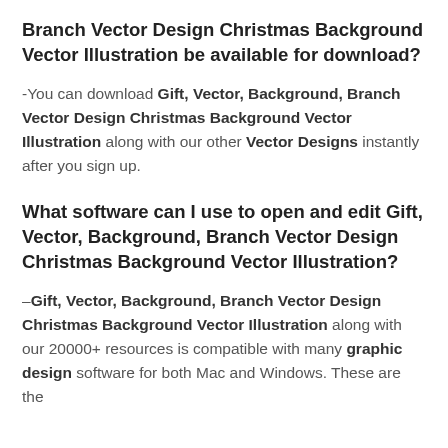Branch Vector Design Christmas Background Vector Illustration be available for download?
-You can download Gift, Vector, Background, Branch Vector Design Christmas Background Vector Illustration along with our other Vector Designs instantly after you sign up.
What software can I use to open and edit Gift, Vector, Background, Branch Vector Design Christmas Background Vector Illustration?
–Gift, Vector, Background, Branch Vector Design Christmas Background Vector Illustration along with our 20000+ resources is compatible with many graphic design software for both Mac and Windows. These are the